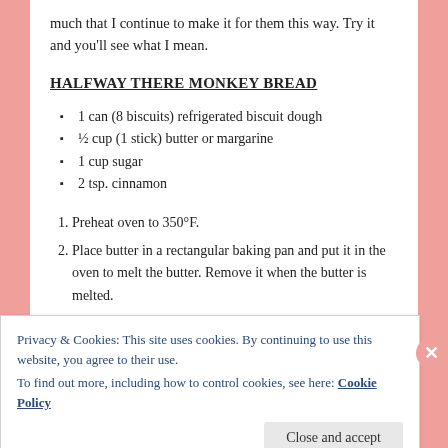much that I continue to make it for them this way. Try it and you'll see what I mean.
HALFWAY THERE MONKEY BREAD
1 can (8 biscuits) refrigerated biscuit dough
½ cup (1 stick) butter or margarine
1 cup sugar
2 tsp. cinnamon
1. Preheat oven to 350°F.
2. Place butter in a rectangular baking pan and put it in the oven to melt the butter. Remove it when the butter is melted.
Privacy & Cookies: This site uses cookies. By continuing to use this website, you agree to their use.
To find out more, including how to control cookies, see here: Cookie Policy